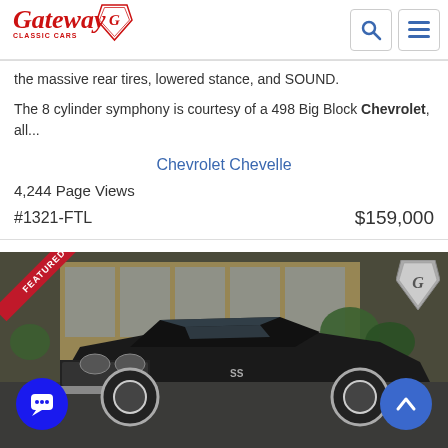Gateway Classic Cars navigation bar
the massive rear tires, lowered stance, and SOUND.
The 8 cylinder symphony is courtesy of a 498 Big Block Chevrolet, all...
Chevrolet Chevelle
4,244 Page Views
#1321-FTL   $159,000
[Figure (photo): Black classic muscle car (Chevrolet Chevelle) parked in front of a building, front 3/4 view. FEATURED ribbon in top-left corner, Gateway Classic Cars emblem in top-right corner.]